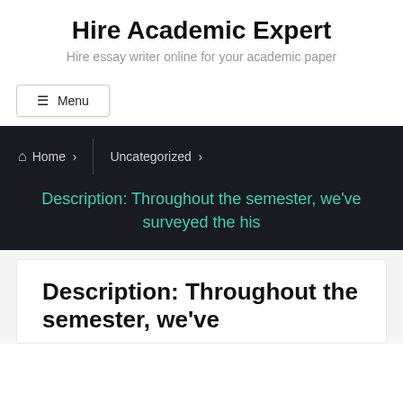Hire Academic Expert
Hire essay writer online for your academic paper
☰ Menu
Home › Uncategorized ›
Description: Throughout the semester, we've surveyed the his
Description: Throughout the semester, we've